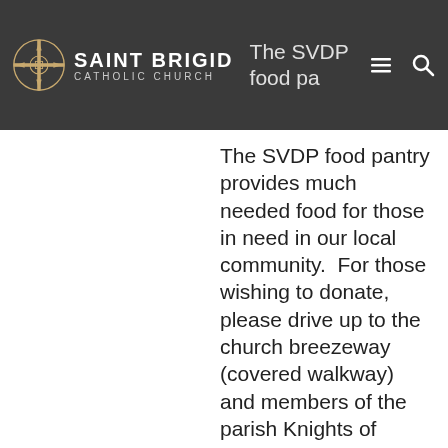Saint Brigid Catholic Church
The SVDP food pantry provides much needed food for those in need in our local community.  For those wishing to donate, please drive up to the church breezeway (covered walkway) and members of the parish Knights of Columbus will help unload your car and provide you with a receipt for tax purposes. Teen volunteers from the parish are welcome to assist with accepting